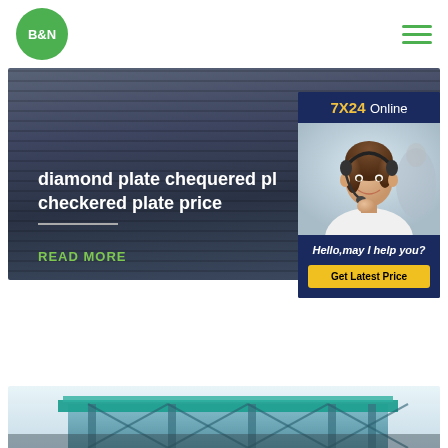[Figure (logo): B&N logo: green circle with white B&N text]
[Figure (illustration): Hamburger menu icon: three green horizontal lines]
[Figure (photo): Hero banner: stacked dark metal/steel plates background]
diamond plate chequered pl checkered plate price
READ MORE
[Figure (infographic): 7X24 Online chat widget with customer service representative photo, Hello may I help you? text, and Get Latest Price button]
[Figure (photo): Bottom strip: industrial building/factory structure with teal/blue coloring]